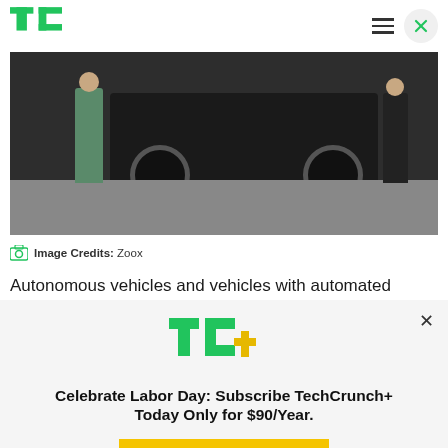TechCrunch
[Figure (photo): Two people standing beside an autonomous vehicle being worked on in a manufacturing or testing facility. The vehicle chassis and large wheels are visible. Image credit: Zoox.]
Image Credits: Zoox
Autonomous vehicles and vehicles with automated driving functions now have their own set of motor
[Figure (infographic): TechCrunch+ subscription modal overlay with TC+ logo, promotion text 'Celebrate Labor Day: Subscribe TechCrunch+ Today Only for $90/Year.' and a 'GET OFFER NOW' button on a gold/yellow background.]